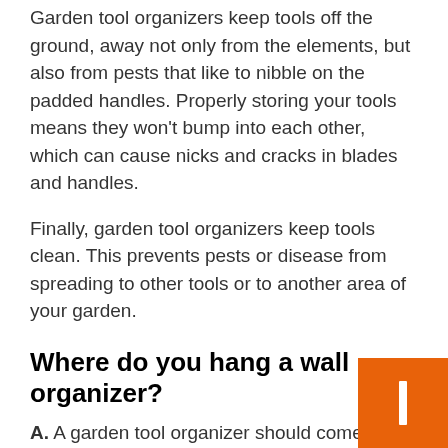Garden tool organizers keep tools off the ground, away not only from the elements, but also from pests that like to nibble on the padded handles. Properly storing your tools means they won't bump into each other, which can cause nicks and cracks in blades and handles.
Finally, garden tool organizers keep tools clean. This prevents pests or disease from spreading to other tools or to another area of your garden.
Where do you hang a wall organizer?
A. A garden tool organizer should come with a specific set of instructions for that particular model. As a general rule, hang wall organizers with enough sp between the bottom of the tool and the floor so th there is flooding in the storage area, the tools will not get wet.